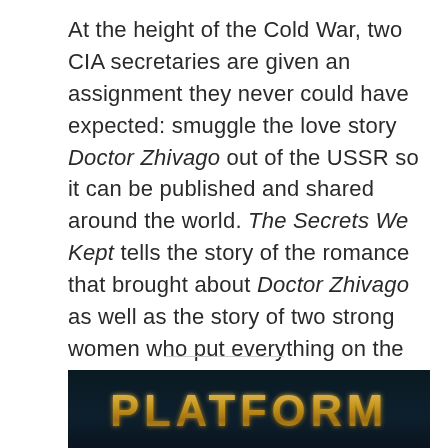At the height of the Cold War, two CIA secretaries are given an assignment they never could have expected: smuggle the love story Doctor Zhivago out of the USSR so it can be published and shared around the world. The Secrets We Kept tells the story of the romance that brought about Doctor Zhivago as well as the story of two strong women who put everything on the line to make sure this book was shared widely.
[Figure (other): Dark background banner with the word PLATFORM written in glowing golden/amber letters]